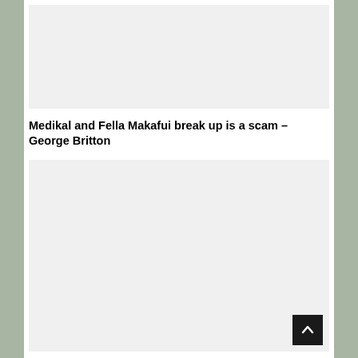[Figure (other): Gray placeholder advertisement box at the top of the page]
Medikal and Fella Makafui break up is a scam – George Britton
[Figure (other): Gray placeholder advertisement box below the title, with a back-to-top button in the bottom right corner]